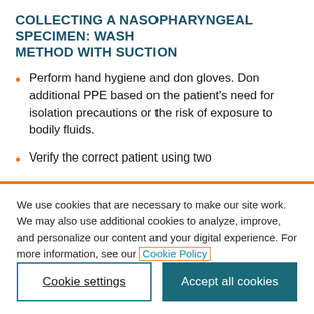COLLECTING A NASOPHARYNGEAL SPECIMEN: WASH METHOD WITH SUCTION
Perform hand hygiene and don gloves. Don additional PPE based on the patient's need for isolation precautions or the risk of exposure to bodily fluids.
Verify the correct patient using two
We use cookies that are necessary to make our site work. We may also use additional cookies to analyze, improve, and personalize our content and your digital experience. For more information, see our Cookie Policy
Cookie settings
Accept all cookies